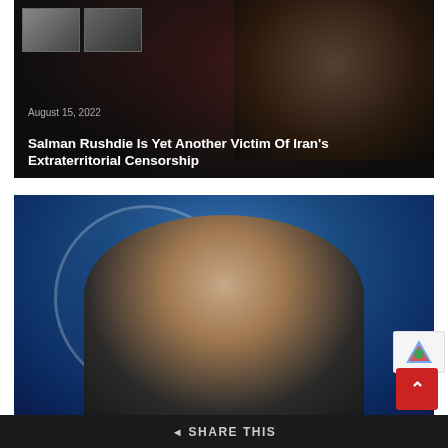[Figure (photo): Dark image thumbnail with Salman Rushdie and overlaid smaller black-and-white images in top-left corner]
August 15, 2022
Salman Rushdie Is Yet Another Victim Of Iran's Extraterritorial Censorship
[Figure (photo): Photo of a man speaking at a podium in front of a United Nations emblem on a blue background]
SHARE THIS